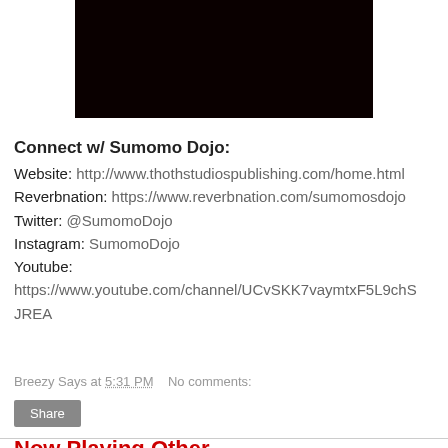[Figure (photo): Dark/black video thumbnail rectangle at the top center of the page]
Connect w/ Sumomo Dojo:
Website: http://www.thothstudiospublishing.com/home.html
Reverbnation: https://www.reverbnation.com/sumomosdojo
Twitter: @SumomoDojo
Instagram: SumomoDojo
Youtube:
https://www.youtube.com/channel/UCvSKK7vaymtxF5L9chSJREA
Breezy Says at 5:31 PM    No comments:
Share
Now Playing Other...